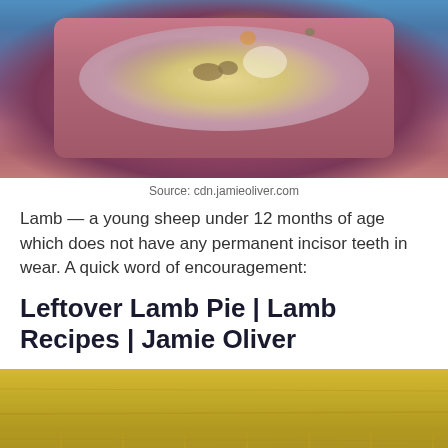[Figure (photo): Overhead view of a lamb/couscous dish on a pink/purple cutting board against a blue background, with garnishes and a dollop of white cream]
Source: cdn.jamieoliver.com
Lamb — a young sheep under 12 months of age which does not have any permanent incisor teeth in wear. A quick word of encouragement:
Leftover Lamb Pie | Lamb Recipes | Jamie Oliver
[Figure (photo): Close-up photo of a wooden surface or cutting board with warm yellow/golden tones, partially cropped at the bottom of the page]